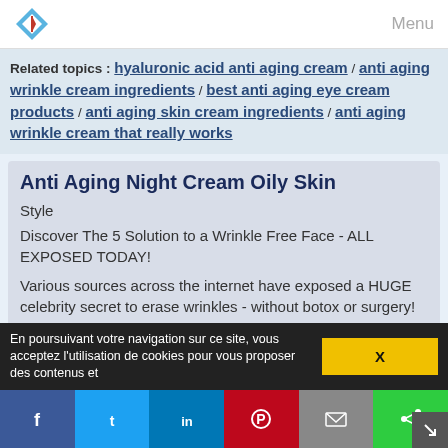Menu
Related topics : hyaluronic acid anti aging cream / anti aging wrinkle cream ingredients / best anti aging eye cream products / anti aging skin cream ingredients / anti aging wrinkle cream that really works
Anti Aging Night Cream Oily Skin
Style
Discover The 5 Solution to a Wrinkle Free Face - ALL EXPOSED TODAY!
Various sources across the internet have exposed a HUGE celebrity secret to erase wrinkles - without botox or surgery!
How do Hollywood starlets look so radiant and youthful well into thier 40's, 50's, and even 60's? Is it always expensive botox and dangerous plastic surgery? According to various sources, the answer is...
En poursuivant votre navigation sur ce site, vous acceptez l'utilisation de cookies pour vous proposer des contenus et